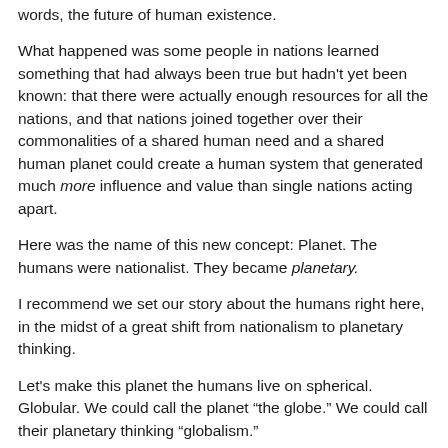words, the future of human existence.
What happened was some people in nations learned something that had always been true but hadn't yet been known: that there were actually enough resources for all the nations, and that nations joined together over their commonalities of a shared human need and a shared human planet could create a human system that generated much more influence and value than single nations acting apart.
Here was the name of this new concept: Planet. The humans were nationalist. They became planetary.
I recommend we set our story about the humans right here, in the midst of a great shift from nationalism to planetary thinking.
Let's make this planet the humans live on spherical. Globular. We could call the planet “the globe.” We could call their planetary thinking “globalism.”
Here’s what’s going on with our humans.